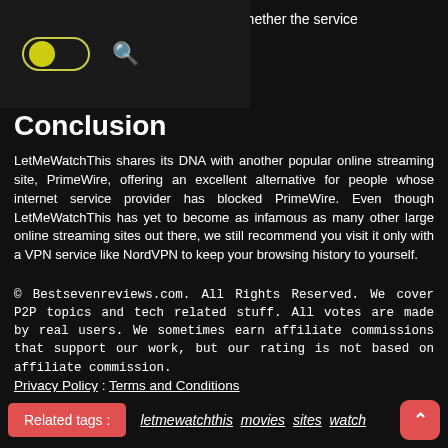o evaluate whether the service
[Figure (screenshot): Toggle switch (yellow dot on left, yellow border pill) and magnifying glass search icon on dark background bar]
Conclusion
LetMeWatchThis shares its DNA with another popular online streaming site, PrimeWire, offering an excellent alternative for people whose internet service provider has blocked PrimeWire. Even though LetMeWatchThis has yet to become as infamous as many other large online streaming sites out there, we still recommend you visit it only with a VPN service like NordVPN to keep your browsing history to yourself.
© Bestsevenreviews.com. All Rights Reserved. We cover P2P topics and tech related stuff. All votes are made by real users. We sometimes earn affiliate commissions that support our work, but our rating is not based on affiliate commission.
Privacy Policy : Terms and Conditions
Related tags : letmewatchthis movies sites watch